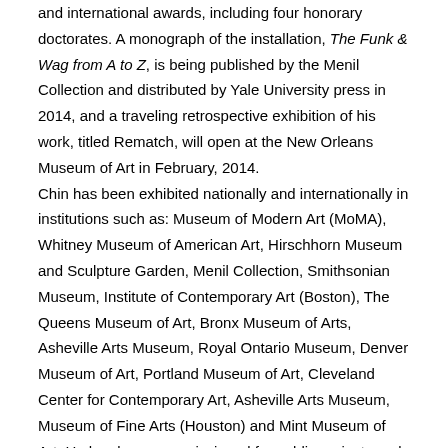and international awards, including four honorary doctorates. A monograph of the installation, The Funk & Wag from A to Z, is being published by the Menil Collection and distributed by Yale University press in 2014, and a traveling retrospective exhibition of his work, titled Rematch, will open at the New Orleans Museum of Art in February, 2014. Chin has been exhibited nationally and internationally in institutions such as: Museum of Modern Art (MoMA), Whitney Museum of American Art, Hirschhorn Museum and Sculpture Garden, Menil Collection, Smithsonian Museum, Institute of Contemporary Art (Boston), The Queens Museum of Art, Bronx Museum of Arts, Asheville Arts Museum, Royal Ontario Museum, Denver Museum of Art, Portland Museum of Art, Cleveland Center for Contemporary Art, Asheville Arts Museum, Museum of Fine Arts (Houston) and Mint Museum of Art. He has been commissioned for public projects and installations for: MoMA P.S.1, The New York Times Magazine, Central Park Arts Commission, Bryant Park, Corcoran College of Art and Design, and Contemporary Arts Museum Houston. Chin's work awarded numerous honors, including: National Endowment for the Arts Fellowship, Pollock/Krasner Foundation Fellowship, Louis Comfort Tiffany Foundation Grant.